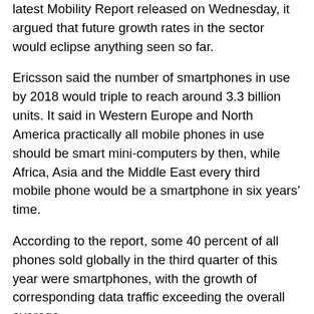latest Mobility Report released on Wednesday, it argued that future growth rates in the sector would eclipse anything seen so far.
Ericsson said the number of smartphones in use by 2018 would triple to reach around 3.3 billion units. It said in Western Europe and North America practically all mobile phones in use should be smart mini-computers by then, while Africa, Asia and the Middle East every third mobile phone would be a smartphone in six years’ time.
According to the report, some 40 percent of all phones sold globally in the third quarter of this year were smartphones, with the growth of corresponding data traffic exceeding the overall average.
Data traffic was in fact expected to grow at annual rates of 50 percent between 2012 and 2018, the Ericsson study revealed. The report identified online video content as the biggest contributor to mobile traffic volumes, constituting 25 percent of total smartphone traffic and 40 percent of total tablet traffic.